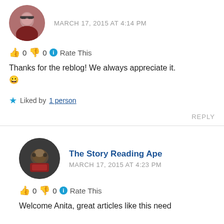[Figure (photo): Circular avatar of a woman with glasses and dark red hair]
MARCH 17, 2015 AT 4:14 PM
👍 0 👎 0 ℹ Rate This
Thanks for the reblog! We always appreciate it. 😀
★ Liked by 1 person
REPLY
[Figure (photo): Circular avatar of The Story Reading Ape — an ape character with a book]
The Story Reading Ape
MARCH 17, 2015 AT 4:23 PM
👍 0 👎 0 ℹ Rate This
Welcome Anita, great articles like this need